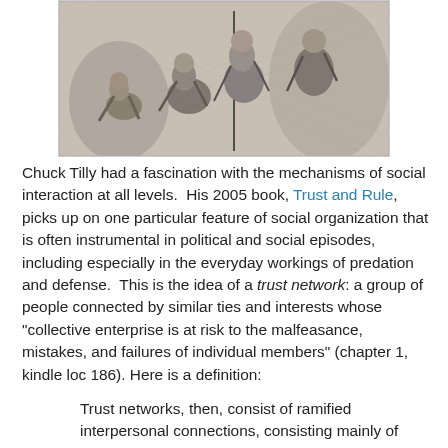[Figure (illustration): A black and white engraving or sketch depicting a group of figures in historical/medieval dress, some seated or crouching, with weapons, in a scene suggesting conflict or predation.]
Chuck Tilly had a fascination with the mechanisms of social interaction at all levels.  His 2005 book, Trust and Rule, picks up on one particular feature of social organization that is often instrumental in political and social episodes, including especially in the everyday workings of predation and defense.  This is the idea of a trust network: a group of people connected by similar ties and interests whose "collective enterprise is at risk to the malfeasance, mistakes, and failures of individual members" (chapter 1, kindle loc 186). Here is a definition:
Trust networks, then, consist of ramified interpersonal connections, consisting mainly of strong ties, within which people set valued